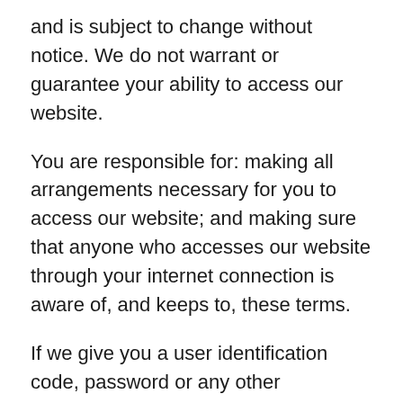and is subject to change without notice. We do not warrant or guarantee your ability to access our website.
You are responsible for: making all arrangements necessary for you to access our website; and making sure that anyone who accesses our website through your internet connection is aware of, and keeps to, these terms.
If we give you a user identification code, password or any other information as part of our security procedures, you must treat that information as confidential, and you must not reveal it to anyone. If you fail to keep to this information confidential we may disable any user identification code or password, whether chosen by you or given to you by us, at any time.